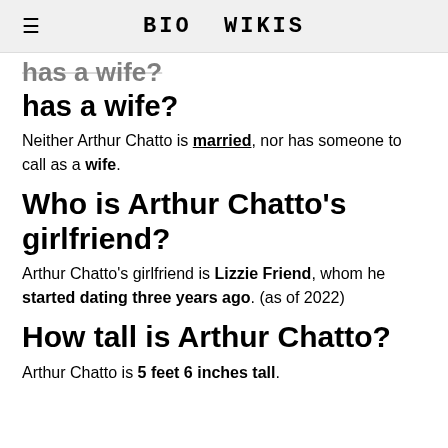BIO WIKIS
has a wife?
Neither Arthur Chatto is married, nor has someone to call as a wife.
Who is Arthur Chatto's girlfriend?
Arthur Chatto's girlfriend is Lizzie Friend, whom he started dating three years ago. (as of 2022)
How tall is Arthur Chatto?
Arthur Chatto is 5 feet 6 inches tall.